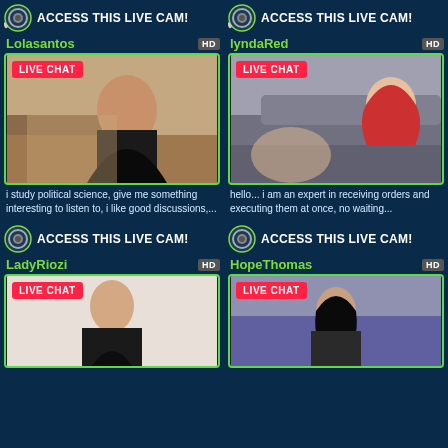[Figure (screenshot): ACCESS THIS LIVE CAM banner with camera icon (top left)]
[Figure (screenshot): ACCESS THIS LIVE CAM banner with camera icon (top right)]
Lolasantos HD
[Figure (photo): Live chat cam preview of Lolasantos with LIVE CHAT badge]
i study political science, give me something interesting to listen to, i like good discussions,...
lyndaRed HD
[Figure (photo): Live chat cam preview of lyndaRed with LIVE CHAT badge]
hello... i am an expert in receiving orders and executing them at once, no waiting...
[Figure (screenshot): ACCESS THIS LIVE CAM banner with camera icon (bottom left)]
[Figure (screenshot): ACCESS THIS LIVE CAM banner with camera icon (bottom right)]
LadyRiozi HD
[Figure (photo): Live chat cam preview of LadyRiozi with LIVE CHAT badge]
HopeThomas HD
[Figure (photo): Live chat cam preview of HopeThomas with LIVE CHAT badge]